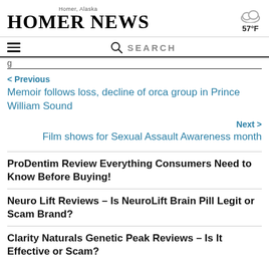Homer, Alaska — HOMER NEWS | 57°F
SEARCH
< Previous
Memoir follows loss, decline of orca group in Prince William Sound
Next >
Film shows for Sexual Assault Awareness month
ProDentim Review Everything Consumers Need to Know Before Buying!
Neuro Lift Reviews – Is NeuroLift Brain Pill Legit or Scam Brand?
Clarity Naturals Genetic Peak Reviews – Is It Effective or Scam?